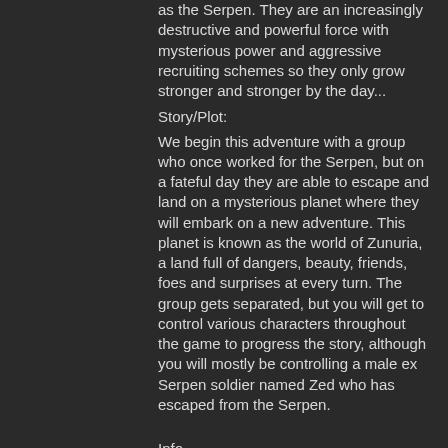as the Serpen. They are an increasingly destructive and powerful force with mysterious power and aggressive recruiting schemes so they only grow stronger and stronger by the day...
Story/Plot:
We begin this adventure with a group who once worked for the Serpen, but on a fateful day they are able to escape and land on a mysterious planet where they will embark on a new adventure. This planet is known as the world of Zunuria, a land full of dangers, beauty, friends, foes and surprises at every turn. The group gets separated, but you will get to control various characters throughout the game to progress the story, although you will mostly be controlling a male ex Serpen soldier named Zed who has escaped from the Serpen.
Info
Date: 27.06.2019